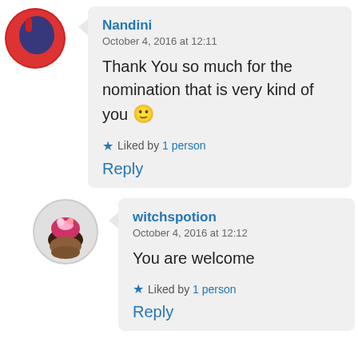[Figure (illustration): Circular avatar icon with red/blue illustration, top-left of first comment]
Nandini
October 4, 2016 at 12:11

Thank You so much for the nomination that is very kind of you 🙂

★ Liked by 1 person

Reply
[Figure (photo): Circular avatar with a cupcake/hat illustration, top-left of second comment]
witchspotion
October 4, 2016 at 12:12

You are welcome

★ Liked by 1 person

Reply